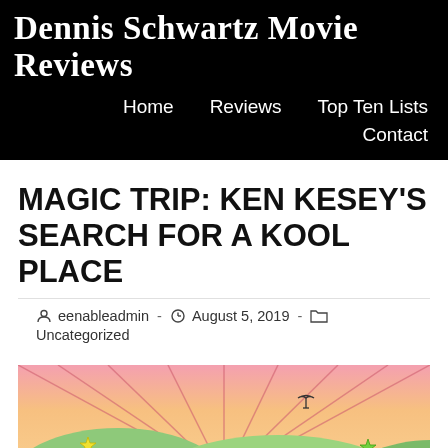Dennis Schwartz Movie Reviews
Home   Reviews   Top Ten Lists   Contact
MAGIC TRIP: KEN KESEY'S SEARCH FOR A KOOL PLACE
eenableadmin · August 5, 2019 · Uncategorized
[Figure (illustration): Colorful psychedelic illustration with green hills, radiating sunbeams in pink/orange sky, a flying bird, and yellow and green stars]